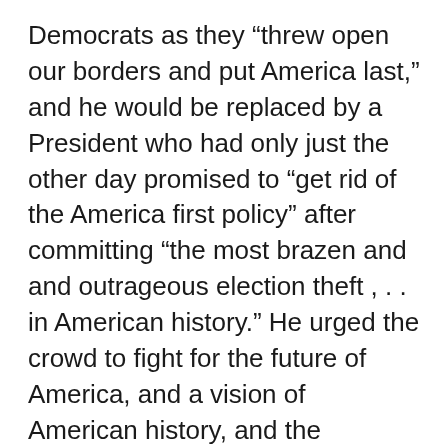Democrats as they “threw open our borders and put America last,” and he would be replaced by a President who had only just the other day promised to “get rid of the America first policy” after committing “the most brazen and and outrageous election theft , . . in American history.” He urged the crowd to fight for the future of America, and a vision of American history, and the creation of a wall between Mexico and America to protect American jobs from being lost by those not defending the nation.